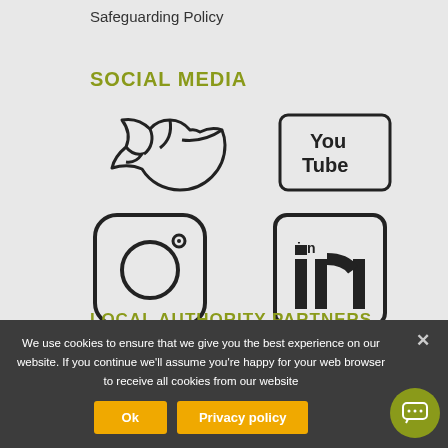Safeguarding Policy
SOCIAL MEDIA
[Figure (illustration): Four social media icons: Twitter bird, YouTube logo, Instagram camera, LinkedIn logo]
LOCAL AUTHORITY PARTNERS
[Figure (illustration): White box with green arc/circle logo partially visible]
We use cookies to ensure that we give you the best experience on our website. If you continue we'll assume you're happy for your web browser to receive all cookies from our website
Ok
Privacy policy